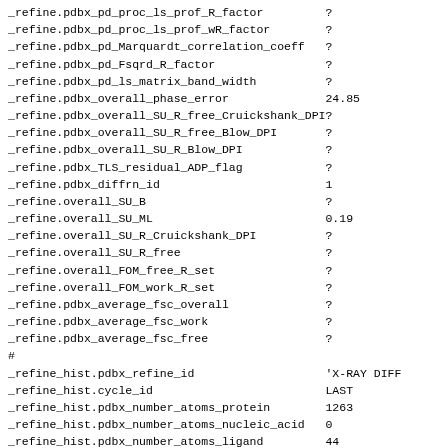| key | value |
| --- | --- |
| _refine.pdbx_pd_proc_ls_prof_R_factor | ? |
| _refine.pdbx_pd_proc_ls_prof_wR_factor | ? |
| _refine.pdbx_pd_Marquardt_correlation_coeff | ? |
| _refine.pdbx_pd_Fsqrd_R_factor | ? |
| _refine.pdbx_pd_ls_matrix_band_width | ? |
| _refine.pdbx_overall_phase_error | 24.85 |
| _refine.pdbx_overall_SU_R_free_Cruickshank_DPI | ? |
| _refine.pdbx_overall_SU_R_free_Blow_DPI | ? |
| _refine.pdbx_overall_SU_R_Blow_DPI | ? |
| _refine.pdbx_TLS_residual_ADP_flag | ? |
| _refine.pdbx_diffrn_id | 1 |
| _refine.overall_SU_B | ? |
| _refine.overall_SU_ML | 0.19 |
| _refine.overall_SU_R_Cruickshank_DPI | ? |
| _refine.overall_SU_R_free | ? |
| _refine.overall_FOM_free_R_set | ? |
| _refine.overall_FOM_work_R_set | ? |
| _refine.pdbx_average_fsc_overall | ? |
| _refine.pdbx_average_fsc_work | ? |
| _refine.pdbx_average_fsc_free | ? |
| # |  |
| _refine_hist.pdbx_refine_id | 'X-RAY DIFF |
| _refine_hist.cycle_id | LAST |
| _refine_hist.pdbx_number_atoms_protein | 1263 |
| _refine_hist.pdbx_number_atoms_nucleic_acid | 0 |
| _refine_hist.pdbx_number_atoms_ligand | 44 |
| _refine_hist.number_atoms_solvent | 82 |
| _refine_hist.number_atoms_total | 1389 |
| _refine_hist.d_res_high | 2.000 |
| _refine_hist.d_res_low | 50.623 |